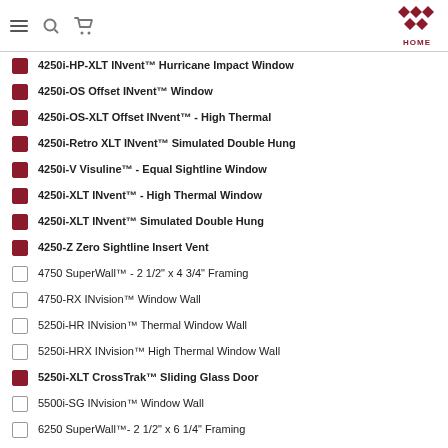Navigation header with menu, search, cart icons and HOME logo
4250i-HP-XLT INvent™ Hurricane Impact Window
4250i-OS Offset INvent™ Window
4250i-OS-XLT Offset INvent™ - High Thermal
4250i-Retro XLT INvent™ Simulated Double Hung
4250i-V Visuline™ - Equal Sightline Window
4250i-XLT INvent™ - High Thermal Window
4250i-XLT INvent™ Simulated Double Hung
4250-Z Zero Sightline Insert Vent
4750 SuperWall™ - 2 1/2" x 4 3/4" Framing
4750-RX INvision™ Window Wall
5250i-HR INvision™ Thermal Window Wall
5250i-HRX INvision™ High Thermal Window Wall
5250i-XLT CrossTrak™ Sliding Glass Door
5500i-SG INvision™ Window Wall
6250 SuperWall™- 2 1/2" x 6 1/4" Framing